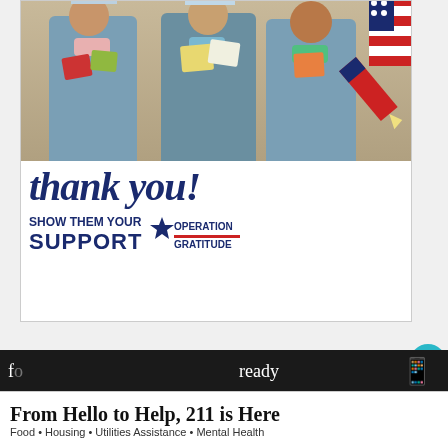[Figure (photo): Advertisement: Three nurses in scrubs and masks holding thank-you cards, with a pencil graphic and American flag motif. Text reads 'thank you! SHOW THEM YOUR SUPPORT' with Operation Gratitude logo.]
How To Fix It:
[Figure (screenshot): What's Next callout showing thumbnail image and text 'LG Dryer d90 Error Code B...', plus a scroll/up button with 'The' label, and partial article text 'The Steam Fresh function is designed to']
[Figure (other): Bottom advertisement banner: 'From Hello to Help, 211 is Here' with subtitle 'Food • Housing • Utilities Assistance • Mental Health']